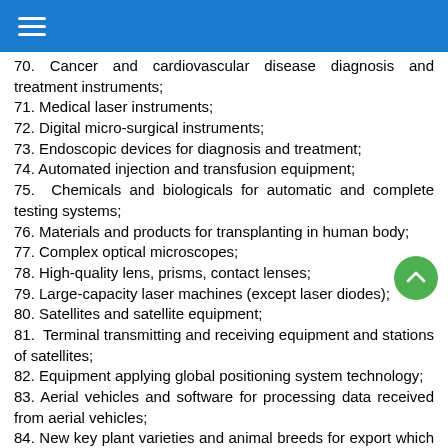70. Cancer and cardiovascular disease diagnosis and treatment instruments;
71. Medical laser instruments;
72. Digital micro-surgical instruments;
73. Endoscopic devices for diagnosis and treatment;
74. Automated injection and transfusion equipment;
75. Chemicals and biologicals for automatic and complete testing systems;
76. Materials and products for transplanting in human body;
77. Complex optical microscopes;
78. High-quality lens, prisms, contact lenses;
79. Large-capacity laser machines (except laser diodes);
80. Satellites and satellite equipment;
81. Terminal transmitting and receiving equipment and stations of satellites;
82. Equipment applying global positioning system technology;
83. Aerial vehicles and software for processing data received from aerial vehicles;
84. New key plant varieties and animal breeds for export which are created on the background of cell technology and to be produced on an industrial scale and of high yield, disease-free and high quality;
85. High quality dieses for high yield and disease resistant...